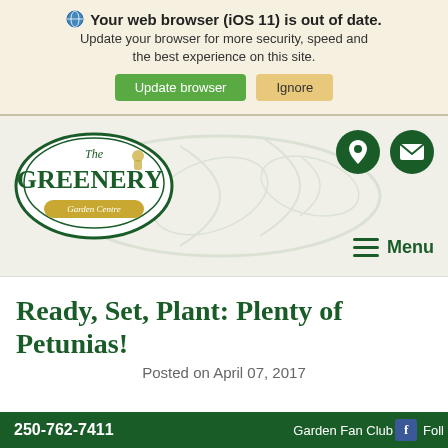Your web browser (iOS 11) is out of date. Update your browser for more security, speed and the best experience on this site.
[Figure (screenshot): Browser update banner with 'Update browser' (green button) and 'Ignore' (tan button)]
[Figure (logo): The Greenery Garden Centre logo - dark green oval with decorative border, text 'The GREENERY' in serif font, 'Garden Centre' on gold badge]
[Figure (other): Dark green circle icon with location pin symbol]
[Figure (other): Dark green circle icon with envelope/mail symbol]
Menu
Ready, Set, Plant: Plenty of Petunias!
Posted on April 07, 2017
250-762-7411   Garden Fan Club  Foll